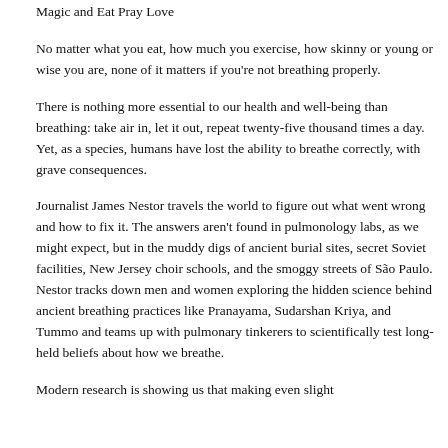Magic and Eat Pray Love
No matter what you eat, how much you exercise, how skinny or young or wise you are, none of it matters if you're not breathing properly.
There is nothing more essential to our health and well-being than breathing: take air in, let it out, repeat twenty-five thousand times a day. Yet, as a species, humans have lost the ability to breathe correctly, with grave consequences.
Journalist James Nestor travels the world to figure out what went wrong and how to fix it. The answers aren't found in pulmonology labs, as we might expect, but in the muddy digs of ancient burial sites, secret Soviet facilities, New Jersey choir schools, and the smoggy streets of São Paulo. Nestor tracks down men and women exploring the hidden science behind ancient breathing practices like Pranayama, Sudarshan Kriya, and Tummo and teams up with pulmonary tinkerers to scientifically test long-held beliefs about how we breathe.
Modern research is showing us that making even slight